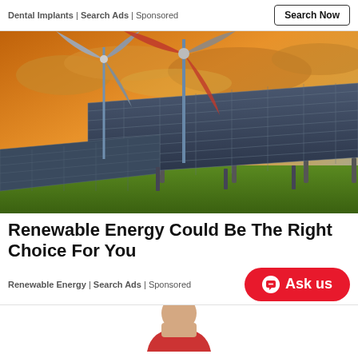Dental Implants | Search Ads | Sponsored
Search Now
[Figure (photo): Solar panels in a green field with two wind turbines against a dramatic golden-orange cloudy sky]
Renewable Energy Could Be The Right Choice For You
Renewable Energy | Search Ads | Sponsored
Ask us
[Figure (photo): Partial view of a person at the bottom of the page]